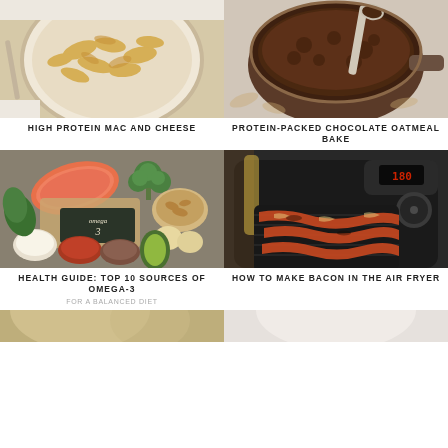[Figure (photo): Overhead view of mac and cheese in a white bowl on marble surface]
HIGH PROTEIN MAC AND CHEESE
[Figure (photo): Chocolate oatmeal bake in a pot with a spoon, viewed from above on marble]
PROTEIN-PACKED CHOCOLATE OATMEAL BAKE
[Figure (photo): Omega-3 food sources: salmon, shellfish, eggs, nuts, seeds, avocado, broccoli with chalkboard sign saying omega 3]
HEALTH GUIDE: TOP 10 SOURCES OF OMEGA-3
FOR A BALANCED DIET
[Figure (photo): Bacon strips cooking in a black air fryer basket]
HOW TO MAKE BACON IN THE AIR FRYER
[Figure (photo): Partial view of food at bottom of page]
[Figure (photo): Partial view of food at bottom of page]